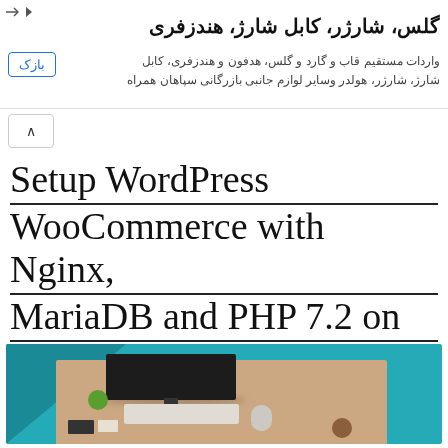[Figure (other): Advertisement banner in Persian/Farsi for mobile accessories (glasses, chargers, cables, handsfree). Contains Persian text: گلس، شارژر، کابل شارژ، هندزفری and واردات مستقیم قاب و گارد و گلس، هدفون و هندزفری، کابل شارژ، شارژر، هولدر وسایر لوازم جانبی بازرگانی سپاهان همراه. Has a blue button labeled بازک on the left.]
Setup WordPress WooCommerce with Nginx, MariaDB and PHP 7.2 on Ubuntu 16.04 | 18.04
[Figure (illustration): Flat design illustration showing a desktop computer setup from a top-down perspective on a teal/turquoise background. Shows a monitor, keyboard, mouse, a green plant, and various desk accessories on a beige desk surface.]